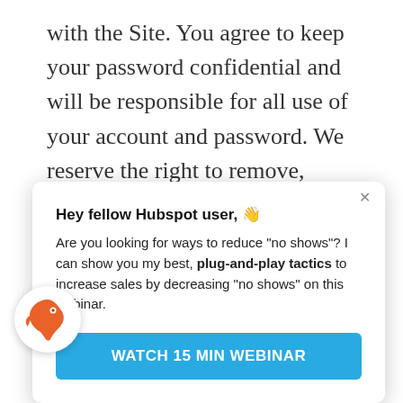with the Site. You agree to keep your password confidential and will be responsible for all use of your account and password. We reserve the right to remove, reclaim, or change a username you select if we determine, in our
[Figure (screenshot): Popup overlay with HubSpot chatbot branding. Contains bold heading 'Hey fellow Hubspot user,' followed by body text about reducing 'no shows' and plug-and-play tactics, with a blue 'WATCH 15 MIN WEBINAR' button. An orange HubSpot logo circle is visible at bottom-left.]
you may not use or access the Site for any reason other than